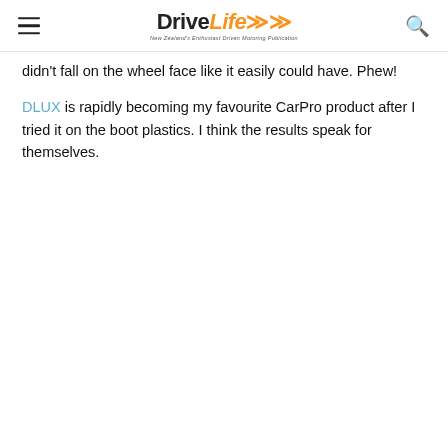DriveLife — New Zealand's Enthusiast Driven Motoring Publication
didn't fall on the wheel face like it easily could have. Phew!
DLUX is rapidly becoming my favourite CarPro product after I tried it on the boot plastics. I think the results speak for themselves.